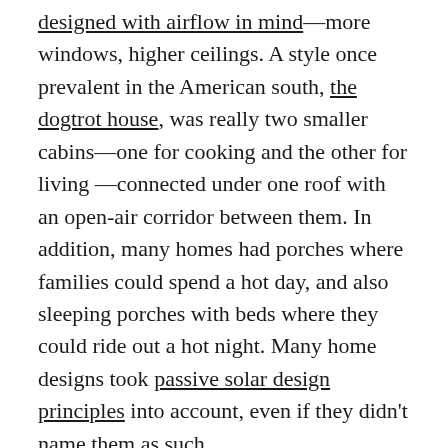designed with airflow in mind—more windows, higher ceilings. A style once prevalent in the American south, the dogtrot house, was really two smaller cabins—one for cooking and the other for living —connected under one roof with an open-air corridor between them. In addition, many homes had porches where families could spend a hot day, and also sleeping porches with beds where they could ride out a hot night. Many home designs took passive solar design principles into account, even if they didn't name them as such.

Besides housing design, people had other tricks: taking naps during the heat of the day, carrying hand-held fans around, and, of course, swimming. My grandmother told me she used to pay a bus fare